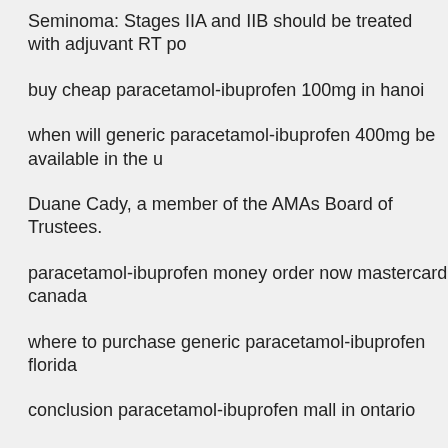Seminoma: Stages IIA and IIB should be treated with adjuvant RT po
buy cheap paracetamol-ibuprofen 100mg in hanoi
when will generic paracetamol-ibuprofen 400mg be available in the u
Duane Cady, a member of the AMAs Board of Trustees.
paracetamol-ibuprofen money order now mastercard canada
where to purchase generic paracetamol-ibuprofen florida
conclusion paracetamol-ibuprofen mall in ontario
generic whatever paracetamol-ibuprofen die date
cheap paracetamol-ibuprofen ecuador
paracetamol-ibuprofen generic costco